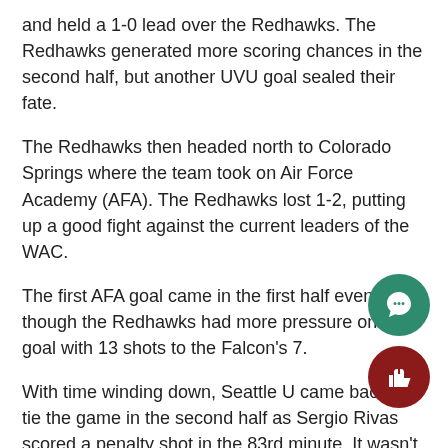UVU maintained strong control of the field throughout the first half and held a 1-0 lead over the Redhawks. The Redhawks generated more scoring chances in the second half, but another UVU goal sealed their fate.
The Redhawks then headed north to Colorado Springs where the team took on Air Force Academy (AFA). The Redhawks lost 1-2, putting up a good fight against the current leaders of the WAC.
The first AFA goal came in the first half even though the Redhawks had more pressure on the goal with 13 shots to the Falcon's 7.
With time winding down, Seattle U came back to tie the game in the second half as Sergio Rivas scored a penalty shot in the 83rd minute. It wasn't enough as the Falcons scored in the last minute of the game to clinch the victory.
The men's soccer team returns home next week for games against UTRVG, Friday, Oct. 26 and Incarnate Word, Sunday, Oct. 28.